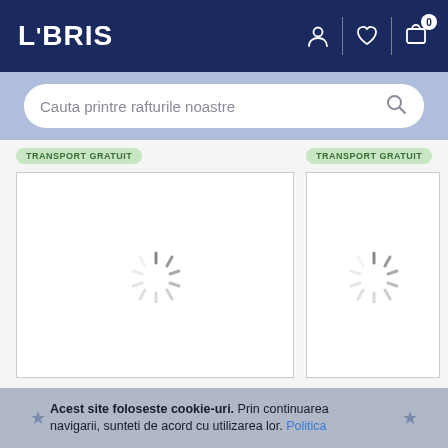LIBRIS
Cauta printre rafturile noastre
TRANSPORT GRATUIT
[Figure (screenshot): Book cover loading spinner placeholder for 'The Journey Within: Exploring the Path of Bhakti - Radhanath Swami']
TRANSPORT GRATUIT
[Figure (screenshot): Book cover loading spinner placeholder for 'Book of Secrets - Osho']
The Journey Within: Exploring the Path of Bhakti - Radhanath Swami
Book of Secrets -  Osho
7 Yo M
Acest site foloseste cookie-uri. Prin continuarea navigarii, sunteti de acord cu utilizarea lor. Politica